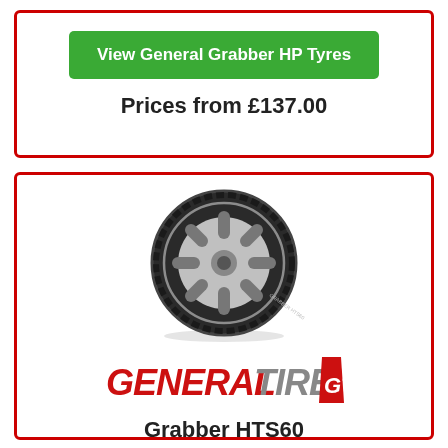View General Grabber HP Tyres
Prices from £137.00
[Figure (photo): General Tire Grabber HTS60 tyre on a silver alloy wheel, photographed at a slight angle showing tread pattern and sidewall]
[Figure (logo): General Tire logo with red GT emblem. GENERAL in red bold italic, TIRE in grey bold italic, GT badge in red.]
Grabber HTS60